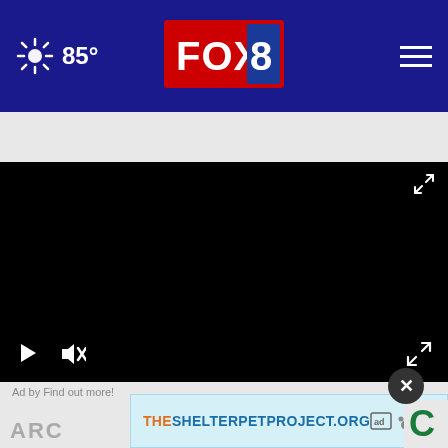[Figure (screenshot): Fox 8 news website header navigation bar with weather (85°), FOX 8 logo, and hamburger menu on dark blue background]
Man shot, killed after deputy says tractor almost r...
[Figure (screenshot): Black video player area with play button, mute button, expand arrows controls]
Ad by Find out more!
[Figure (screenshot): Ad banner reading THESHELTERPETPROJECT.ORG with ad icons]
ARC